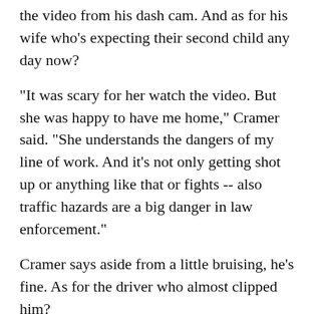Cramer says he's still a little uncomfortable watching the video from his dash cam. And as for his wife who's expecting their second child any day now?
"It was scary for her watch the video. But she was happy to have me home," Cramer said. "She understands the dangers of my line of work. And it's not only getting shot up or anything like that or fights -- also traffic hazards are a big danger in law enforcement."
Cramer says aside from a little bruising, he's fine. As for the driver who almost clipped him?
"No ticket," he said. "He apologized, and I sent them on his way as quickly as possible so we don't cause any other traffic jams.
The Hamet Police Department posted the video on its...